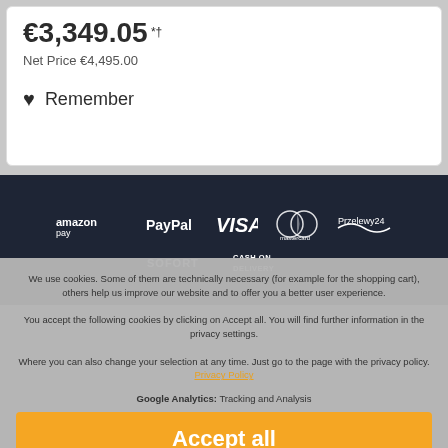€3,349.05 Net Price €4,495.00
♥ Remember
[Figure (logo): Payment method logos: amazonpay, PayPal, VISA, Mastercard, Przelewy24, SOFORT, CASH ON DELIVERY]
We use cookies. Some of them are technically necessary (for example for the shopping cart), others help us improve our website and to offer you a better user experience. You accept the following cookies by clicking on Accept all. You will find further information in the privacy settings. Where you can also change your selection at any time. Just go to the page with the privacy policy. Privacy Policy
Google Analytics: Tracking and Analysis
Accept all
Accept only technically necessary
Privacy Policy Settings